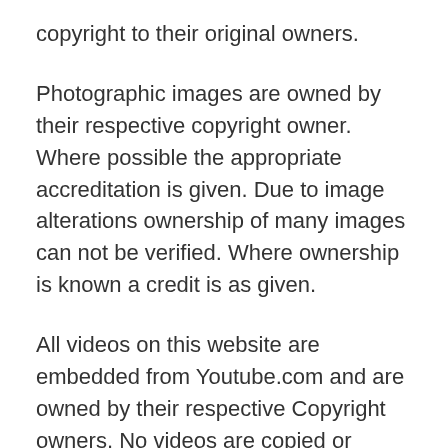copyright to their original owners.
Photographic images are owned by their respective copyright owner. Where possible the appropriate accreditation is given. Due to image alterations ownership of many images can not be verified. Where ownership is known a credit is as given.
All videos on this website are embedded from Youtube.com and are owned by their respective Copyright owners. No videos are copied or stored on our servers. The Court ruled that linking or embedding copyrighted videos is not copyright infringement, even if the source video was uploaded without permission. However we will gladly remove any video upon valid request from respective copyright owners. Any owner also have option to disable embedding his Youtube videos on other